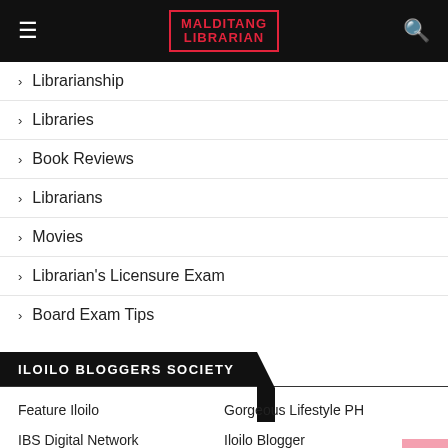MALDITANG LIBRARIAN
Librarianship
Libraries
Book Reviews
Librarians
Movies
Librarian's Licensure Exam
Board Exam Tips
ILOILO BLOGGERS SOCIETY
Feature Iloilo
Gorgeous Lifestyle PH
IBS Digital Network
Iloilo Blogger
Iloilo Bloggers Society
Iloilo Lifestyle & Features